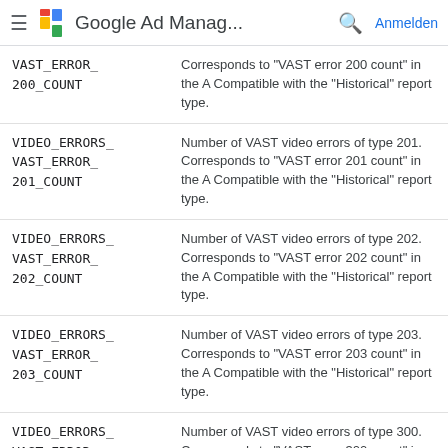Google Ad Manag...  Anmelden
| Field | Description |
| --- | --- |
| VAST_ERROR_200_COUNT | Corresponds to "VAST error 200 count" in the A Compatible with the "Historical" report type. |
| VIDEO_ERRORS_VAST_ERROR_201_COUNT | Number of VAST video errors of type 201. Corresponds to "VAST error 201 count" in the A Compatible with the "Historical" report type. |
| VIDEO_ERRORS_VAST_ERROR_202_COUNT | Number of VAST video errors of type 202. Corresponds to "VAST error 202 count" in the A Compatible with the "Historical" report type. |
| VIDEO_ERRORS_VAST_ERROR_203_COUNT | Number of VAST video errors of type 203. Corresponds to "VAST error 203 count" in the A Compatible with the "Historical" report type. |
| VIDEO_ERRORS_VAST_ERROR_300_COUNT | Number of VAST video errors of type 300. Corresponds to "VAST error 300 count" in the A Compatible with the "Historical" report type. |
| VIDEO_ERRORS_VAST_ERROR_ | Number of VAST video errors of type 301. Corresponds to "VAST error 301 count" in the A |